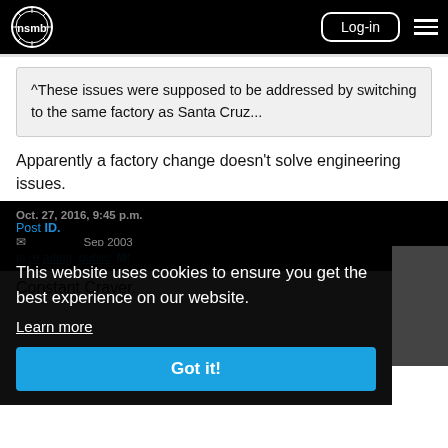nsmb logo | Log-in | menu
^These issues were supposed to be addressed by switching to the same factory as Santa Cruz...
Apparently a factory change doesn't solve engineering issues.
Oct. 27, 2016, 9:45 p.m.
Post ID: ... Sep ... 2003
This website uses cookies to ensure you get the best experience on our website. Learn more Got it!
Constant Craver.